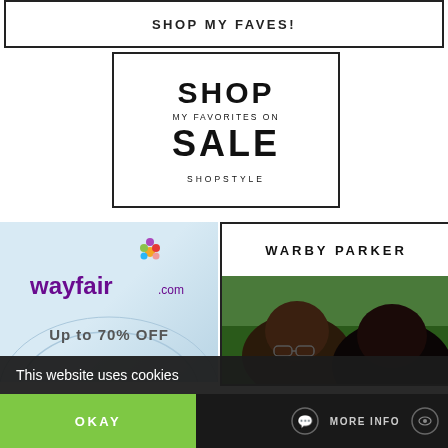[Figure (other): Top banner with text SHOP MY FAVES! in a rectangular border]
[Figure (other): ShopStyle advertisement box with text: SHOP / MY FAVORITES ON / SALE / SHOPSTYLE]
[Figure (other): Wayfair.com advertisement with light blue background showing logo and Up to 70% OFF text]
[Figure (other): Warby Parker advertisement showing logo and photo of two people wearing glasses outdoors]
This website uses cookies
OKAY
MORE INFO